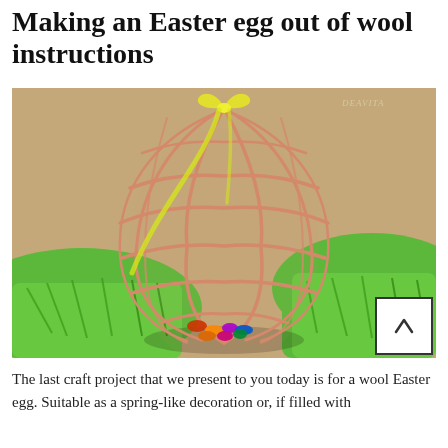Making an Easter egg out of wool instructions
[Figure (photo): A wool Easter egg made of peach/salmon-colored thread wound into a cage-like egg shape, filled with colorful candies, sitting on green shredded paper grass. A yellow ribbon is tied at the top. DEAVITA watermark in upper right corner. A back-to-top scroll button (chevron icon) overlays the lower right corner.]
The last craft project that we present to you today is for a wool Easter egg. Suitable as a spring-like decoration or, if filled with